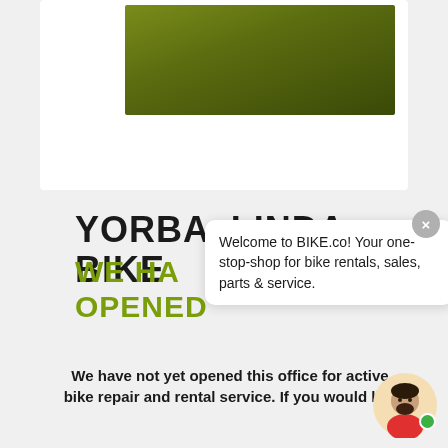[Figure (photo): Olive/dark green gradient hero image, partial view of a bike shop banner or outdoor scene]
YORBA LINDA BIKE
WE HAVE OPENED
Welcome to BIKE.co! Your one-stop-shop for bike rentals, sales, parts & service.
We have not yet opened this office for active bike repair and rental service. If you would like